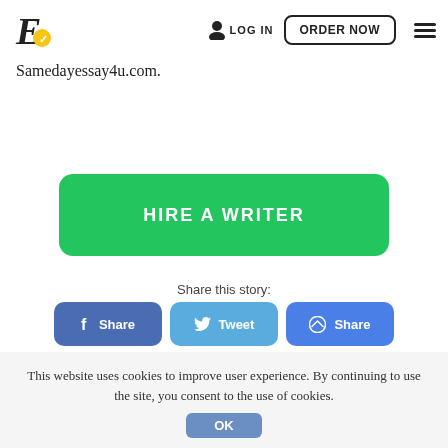[Figure (logo): Stylized E letter logo with yellow circle accent for essay writing service]
LOG IN
ORDER NOW
Samedayessay4u.com.
HIRE A WRITER
Share this story:
Share
Tweet
Share
This website uses cookies to improve user experience. By continuing to use the site, you consent to the use of cookies.
OK